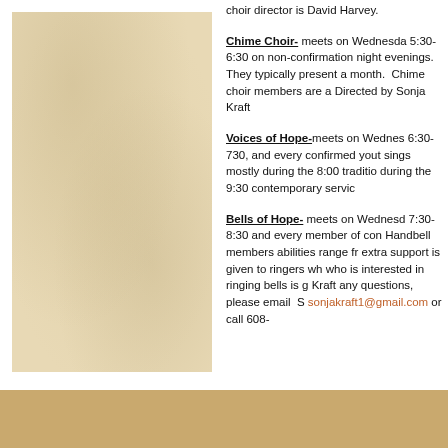choir director is David Harvey.
Chime Choir- meets on Wednesday 5:30-6:30 on non-confirmation night evenings. They typically present a month. Chime choir members are a Directed by Sonja Kraft
Voices of Hope-meets on Wednesday 6:30-730, and every confirmed youth sings mostly during the 8:00 tradition during the 9:30 contemporary servic
Bells of Hope- meets on Wednesday 7:30-8:30 and every member of con Handbell members abilities range fr extra support is given to ringers wh who is interested in ringing bells is g Kraft any questions, please email S sonjakraft1@gmail.com or call 608-